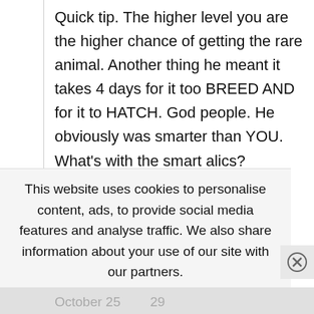Quick tip. The higher level you are the higher chance of getting the rare animal. Another thing he meant it takes 4 days for it too BREED AND for it to HATCH. God people. He obviously was smarter than YOU. What's with the smart alics?
Reply
This website uses cookies to personalise content, ads, to provide social media features and analyse traffic. We also share information about your use of our site with our partners.
Read More  Accept
October 25  29